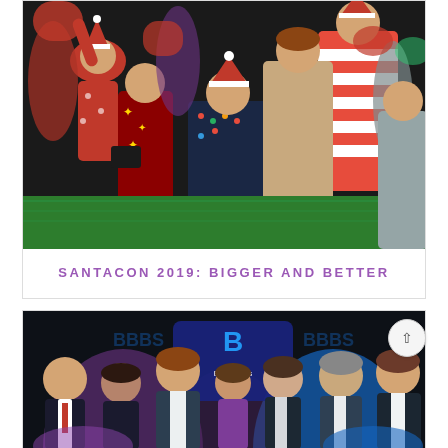[Figure (photo): Group photo of people dressed in Santa Claus costumes, Christmas sweaters, and holiday attire at SantaCon 2019 event. People are celebrating, dancing, and socializing indoors.]
SANTACON 2019: BIGGER AND BETTER
[Figure (photo): Group photo of formally dressed adults at what appears to be a Big Brothers Big Sisters charity event gala. A logo for Big Brothers Big Sisters is visible in the background along with purple uplighting.]